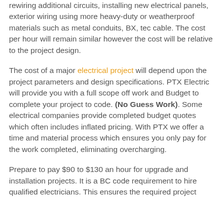rewiring additional circuits, installing new electrical panels, exterior wiring using more heavy-duty or weatherproof materials such as metal conduits, BX, tec cable. The cost per hour will remain similar however the cost will be relative to the project design.
The cost of a major electrical project will depend upon the project parameters and design specifications. PTX Electric will provide you with a full scope off work and Budget to complete your project to code. (No Guess Work). Some electrical companies provide completed budget quotes which often includes inflated pricing. With PTX we offer a time and material process which ensures you only pay for the work completed, eliminating overcharging.
Prepare to pay $90 to $130 an hour for upgrade and installation projects. It is a BC code requirement to hire qualified electricians. This ensures the required project